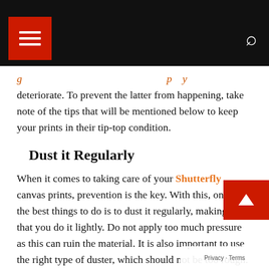[Navigation header with menu and search icons]
deteriorate. To prevent the latter from happening, take note of the tips that will be mentioned below to keep your prints in their tip-top condition.
Dust it Regularly
When it comes to taking care of your Shutterfly canvas prints, prevention is the key. With this, one of the best things to do is to dust it regularly, making sure that you do it lightly. Do not apply too much pressure as this can ruin the material. It is also important to use the right type of duster, which should not be too rough. The longer dust is dealt with, the more difficult it will be to remove. It can harden on the surface.